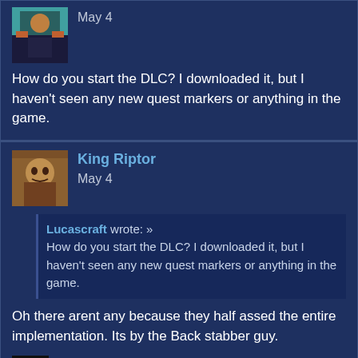[Figure (illustration): User avatar thumbnail - top left corner of first post, colorful character]
May 4
How do you start the DLC? I downloaded it, but I haven't seen any new quest markers or anything in the game.
King Riptor
May 4
Lucascraft wrote: »
How do you start the DLC? I downloaded it, but I haven't seen any new quest markers or anything in the game.
Oh there arent any because they half assed the entire implementation. Its by the Back stabber guy.
[Figure (illustration): Small dark avatar with smiley face emoji]